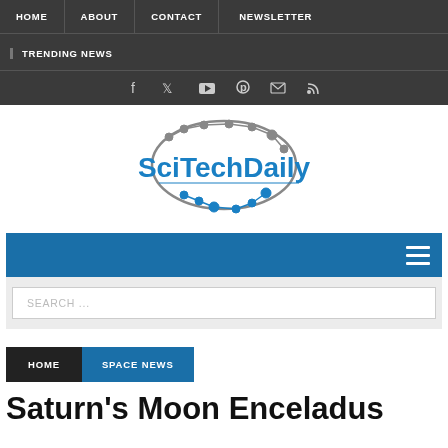HOME | ABOUT | CONTACT | NEWSLETTER | TRENDING NEWS
[Figure (logo): SciTechDaily logo with brain circuit graphic and blue text]
SEARCH ...
HOME  SPACE NEWS
Saturn's Moon Enceladus